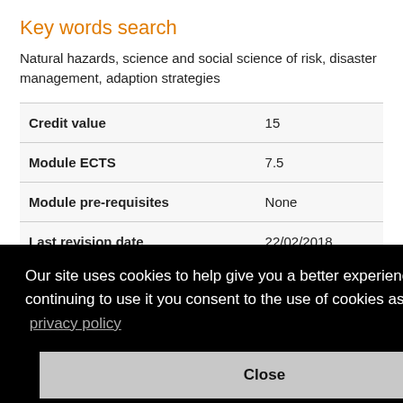Key words search
Natural hazards, science and social science of risk, disaster management, adaption strategies
|  |  |
| --- | --- |
| Credit value | 15 |
| Module ECTS | 7.5 |
| Module pre-requisites | None |
| Last revision date | 22/02/2018 |
Our site uses cookies to help give you a better experience. By continuing to use it you consent to the use of cookies as set out in our privacy policy